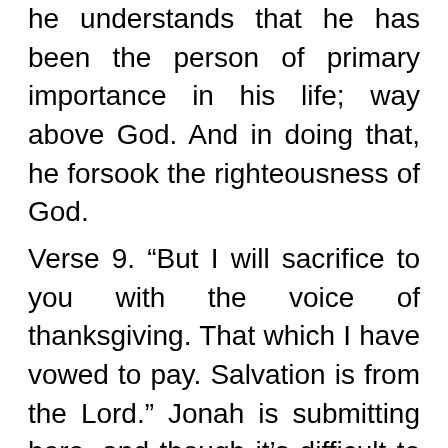he understands that he has been the person of primary importance in his life; way above God. And in doing that, he forsook the righteousness of God.
Verse 9. “But I will sacrifice to you with the voice of thanksgiving. That which I have vowed to pay. Salvation is from the Lord.” Jonah is submitting here, and though it’s difficult to ascertain the level of joy he has in doing this; he is at least surrendering. Does he think that he’s going to get out alive? I really don’t know. I don’t think so, but I really don’t know. But at this point in time he’s rededicating his life. He’s got the sovereignty of God stuff figured out, but